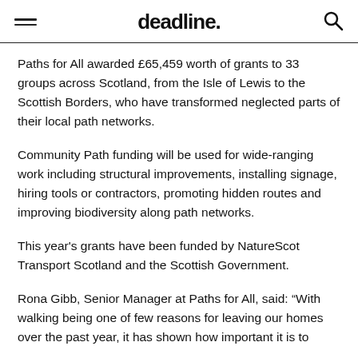deadline.
Paths for All awarded £65,459 worth of grants to 33 groups across Scotland, from the Isle of Lewis to the Scottish Borders, who have transformed neglected parts of their local path networks.
Community Path funding will be used for wide-ranging work including structural improvements, installing signage, hiring tools or contractors, promoting hidden routes and improving biodiversity along path networks.
This year's grants have been funded by NatureScot Transport Scotland and the Scottish Government.
Rona Gibb, Senior Manager at Paths for All, said: “With walking being one of few reasons for leaving our homes over the past year, it has shown how important it is to